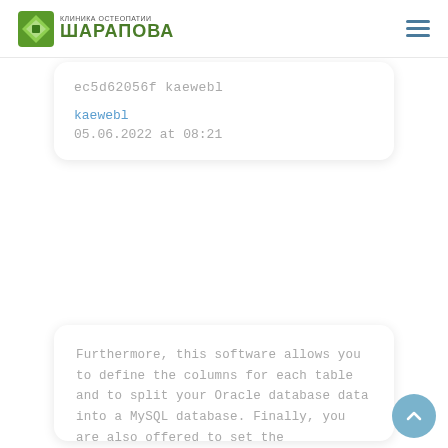КЛИНИКА ОСТЕОПАТИИ ШАРАПОВА
ec5d62056f kaewebl
kaewebl
05.06.2022 at 08:21
Furthermore, this software allows you to define the columns for each table and to split your Oracle database data into a MySQL database. Finally, you are also offered to set the destination location, as well as the MySQL database and table settings. OraDump to MySQL is a